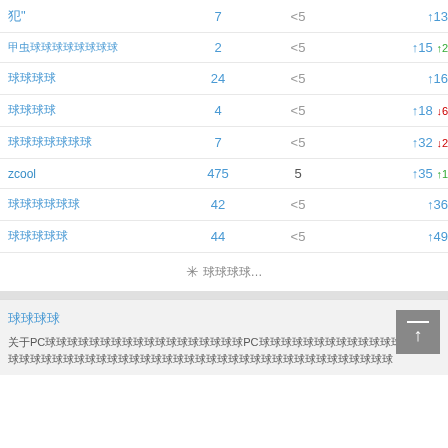|  |  | <5/>5 | 排名 |
| --- | --- | --- | --- |
| 犯" | 7 | <5 | ↑13 |
| 甲虫球球球球球球 | 2 | <5 | ↑15 ↑2 |
| 球球球球 | 24 | <5 | ↑16 |
| 球球球球 | 4 | <5 | ↑18 ↓6 |
| 球球球球球球球 | 7 | <5 | ↑32 ↓2 |
| zcool | 475 | 5 | ↑35 ↑1 |
| 球球球球球球 | 42 | <5 | ↑36 |
| 球球球球球 | 44 | <5 | ↑49 |
加载更多...
友情链接
关于PC端的说明：本站主要针对手机用户，PC用户也可以正常使用，但是部分功能可能不完善，建议使用手机访问以获得最佳体验。